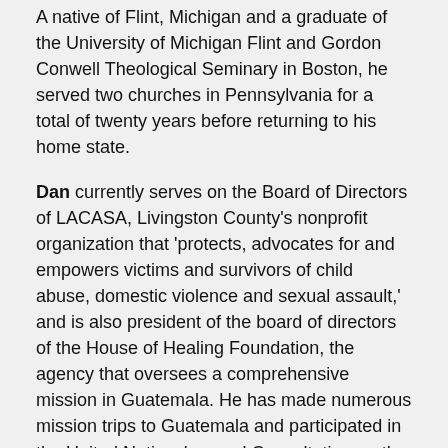A native of Flint, Michigan and a graduate of the University of Michigan Flint and Gordon Conwell Theological Seminary in Boston, he served two churches in Pennsylvania for a total of twenty years before returning to his home state.
Dan currently serves on the Board of Directors of LACASA, Livingston County's nonprofit organization that 'protects, advocates for and empowers victims and survivors of child abuse, domestic violence and sexual assault,' and is also president of the board of directors of the House of Healing Foundation, the agency that oversees a comprehensive mission in Guatemala. He has made numerous mission trips to Guatemala and participated in the United Nations' annual Consultation on the Status of Women, having participated in three presentations there.
Fran recently retired from her position as Worship and Music Director at First Presbyterian Church in Brighton where she served for 14 years. She directed the adult traditional choir in works that included Rutter's "Requiem" and Vivaldi's "Gloria," and led the adult handbell choir as well. She also helped develop a new contemporary service and band in 2005. She worked with teen and children's choirs in the performance of a personally composed musical along with others such as "Godspell." She led children's music camps, developed creative worship services and supervised